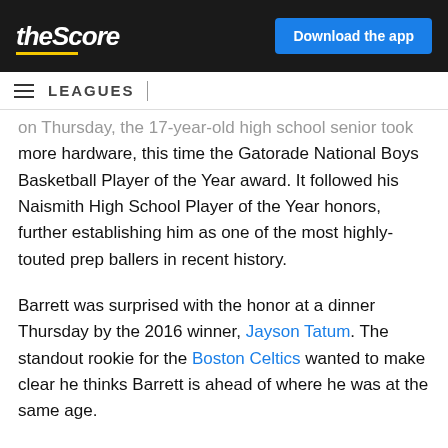theScore | Download the app
LEAGUES
on Thursday, the 17-year-old high school senior took more hardware, this time the Gatorade National Boys Basketball Player of the Year award. It followed his Naismith High School Player of the Year honors, further establishing him as one of the most highly-touted prep ballers in recent history.
Barrett was surprised with the honor at a dinner Thursday by the 2016 winner, Jayson Tatum. The standout rookie for the Boston Celtics wanted to make clear he thinks Barrett is ahead of where he was at the same age.
"He's more athletic than I was at that age, he's probably stronger than me," Tatum said on a conference call. "My advantage was that I'm a little taller, and my ability to score on the ball was more..."